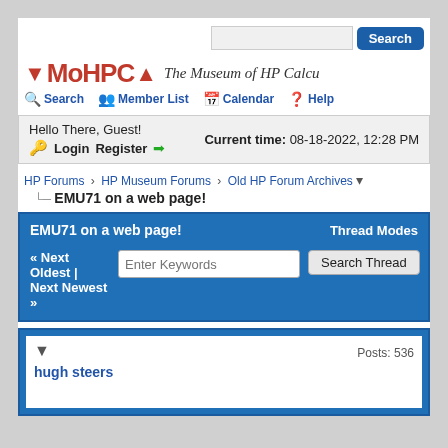Search | MoHPCA - The Museum of HP Calculators | Member List | Calendar | Help
Hello There, Guest! | Current time: 08-18-2022, 12:28 PM | Login | Register
HP Forums › HP Museum Forums › Old HP Forum Archives
EMU71 on a web page!
EMU71 on a web page!   Thread Modes
« Next Oldest | Next Newest »   Enter Keywords   Search Thread
▼
hugh steers    Posts: 536